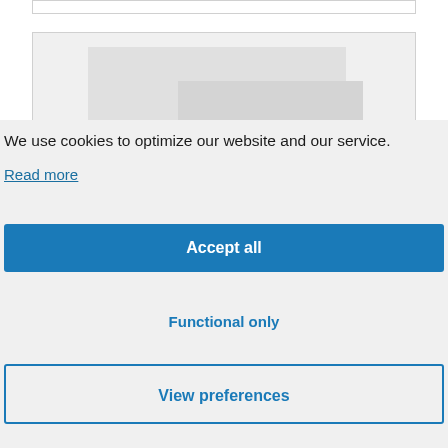[Figure (screenshot): Partial website screenshot showing a product image placeholder area with gray background]
We use cookies to optimize our website and our service.
Read more
Accept all
Functional only
View preferences
The Pellet Chef